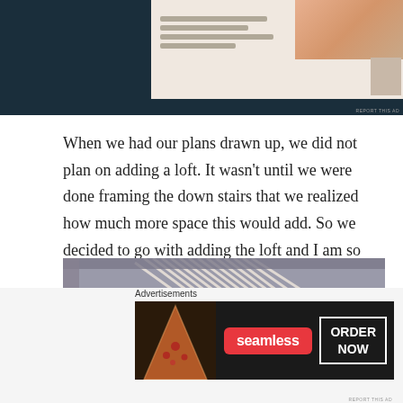[Figure (screenshot): Top advertisement banner with dark navy background showing a website interface with a woman's photo on pink background and smaller content cards]
When we had our plans drawn up, we did not plan on adding a loft. It wasn't until we were done framing the down stairs that we realized how much more space this would add. So we decided to go with adding the loft and I am so glad we did. We use it as a play room/homeschool room right now.
[Figure (photo): Close-up photo of wooden stair balusters/railing framing, showing angled diagonal boards in gray and white tones]
Advertisements
[Figure (screenshot): Seamless food delivery advertisement with pizza image on left, Seamless logo in red badge, and ORDER NOW button on dark background]